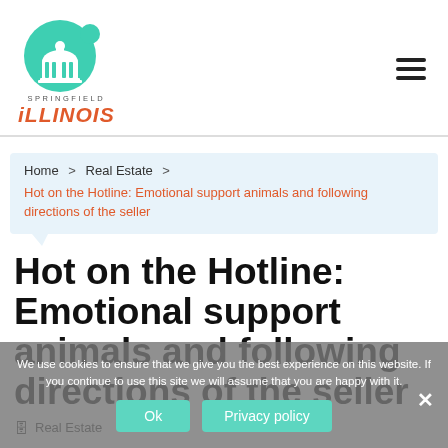[Figure (logo): Springfield Illinois logo with teal capitol dome icon and orange italic ILLINOIS text]
Home > Real Estate >
Hot on the Hotline: Emotional support animals and following directions of the seller
Hot on the Hotline: Emotional support animals and following directions of the seller
Real Estate
We use cookies to ensure that we give you the best experience on this website. If you continue to use this site we will assume that you are happy with it.
Ok
Privacy policy